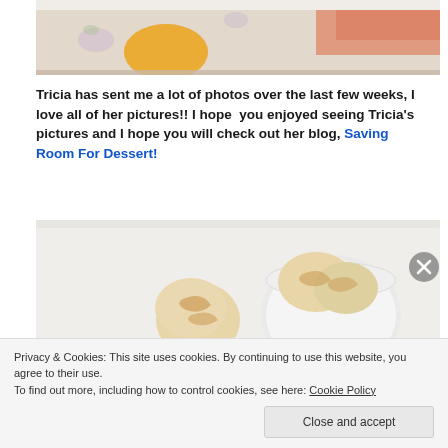[Figure (photo): Partial top photo showing colorful food items on a decorative plate with floral pattern, warm tones of orange and golden hues]
Tricia has sent me a lot of photos over the last few weeks, I love all of her pictures!! I hope you enjoyed seeing Tricia's pictures and I hope you will check out her blog, Saving Room For Dessert!
[Figure (photo): Ice cream scoops on a white tray — a scoop on an ice cream scooper on the left and a white bowl with multiple scoops on the right, photographed from above on a light grey surface]
Privacy & Cookies: This site uses cookies. By continuing to use this website, you agree to their use. To find out more, including how to control cookies, see here: Cookie Policy
Close and accept